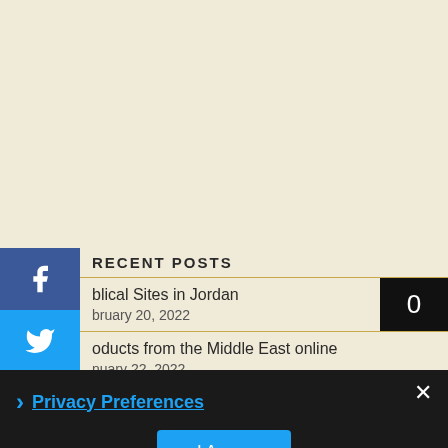RECENT POSTS
blical Sites in Jordan
bruary 20, 2022
oducts from the Middle East online
nuary 22, 2022
inter in Jordan – Don't get Cold Feet
vember 14, 2021
jaumari Wildlife Reserve
Advertisements
Privacy Preferences
I Agree